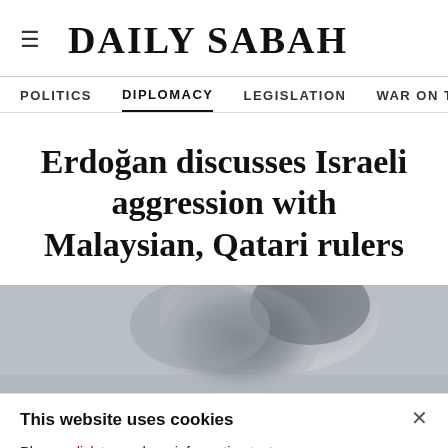DAILY SABAH
POLITICS   DIPLOMACY   LEGISLATION   WAR ON T
Erdoğan discusses Israeli aggression with Malaysian, Qatari rulers
[Figure (photo): Smoke cloud photograph, grey tones]
This website uses cookies
Please click to read our informative text prepared pursuant to the Law on the Protection of Personal Data No. 6698 and to get information about the cookies used on our